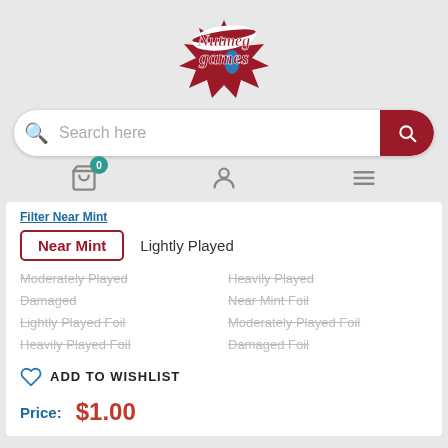[Figure (logo): Nutmeg Games logo - red cursive text with dice and game piece graphic]
Search here
Near Mint
Lightly Played
Moderately Played
Heavily Played
Damaged
Near Mint Foil
Lightly Played Foil
Moderately Played Foil
Heavily Played Foil
Damaged Foil
ADD TO WISHLIST
Price: $1.00